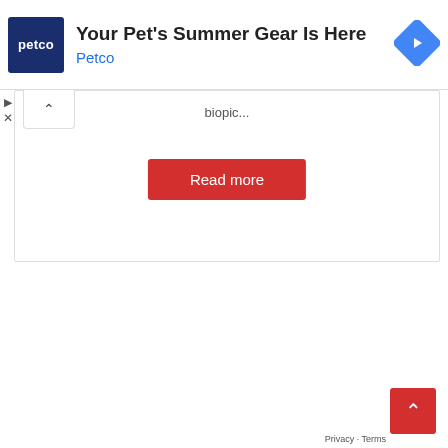[Figure (screenshot): Petco advertisement banner with logo, headline 'Your Pet's Summer Gear Is Here', brand name 'Petco', and a blue navigation arrow diamond icon]
biopic...
[Figure (other): Red 'Read more' button]
[Figure (other): Red scroll-to-top button with caret arrow]
Privacy · Terms